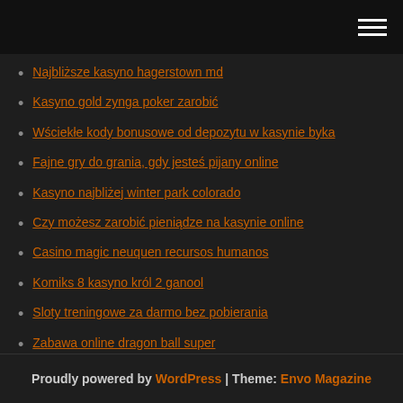Navigation menu header with hamburger icon
Najbliższe kasyno hagerstown md
Kasyno gold zynga poker zarobić
Wściekłe kody bonusowe od depozytu w kasynie byka
Fajne gry do grania, gdy jesteś pijany online
Kasyno najbliżej winter park colorado
Czy możesz zarobić pieniądze na kasynie online
Casino magic neuquen recursos humanos
Komiks 8 kasyno król 2 ganool
Sloty treningowe za darmo bez pobierania
Zabawa online dragon ball super
W co kasyna las legas grają na starszych automatach
Proudly powered by WordPress | Theme: Envo Magazine